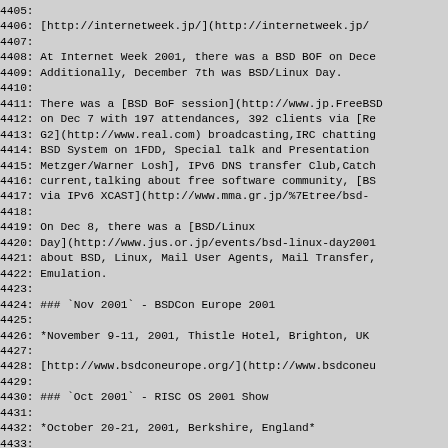4405:
4406: [http://internetweek.jp/](http://internetweek.jp/
4407:
4408: At Internet Week 2001, there was a BSD BOF on Dece
4409: Additionally, December 7th was BSD/Linux Day.
4410:
4411: There was a [BSD BoF session](http://www.jp.FreeBSD
4412: on Dec 7 with 197 attendances, 392 clients via [Re
4413: G2](http://www.real.com) broadcasting,IRC chatting
4414: BSD System on 1FDD, Special talk and Presentation
4415: Metzger/Warner Losh], IPv6 DNS transfer Club,Catch
4416: current,talking about free software community, [BS
4417: via IPv6 XCAST](http://www.mma.gr.jp/%7Etree/bsd-
4418:
4419: On Dec 8, there was a [BSD/Linux
4420: Day](http://www.jus.or.jp/events/bsd-linux-day2001
4421: about BSD, Linux, Mail User Agents, Mail Transfer,
4422: Emulation.
4423:
4424: ### `Nov 2001` - BSDCon Europe 2001
4425:
4426: *November 9-11, 2001, Thistle Hotel, Brighton, UK
4427:
4428: [http://www.bsdconeurope.org/](http://www.bsdconeu
4429:
4430: ### `Oct 2001` - RISC OS 2001 Show
4431:
4432: *October 20-21, 2001, Berkshire, England*
4433:
4434: [http://www.riscos2001.com/](http://www.riscos2001
4435: